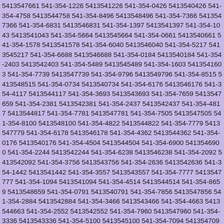5413547661 541-354-1226 5413541226 541-354-0426 5413540426 541-354-4758 5413544758 541-354-8496 5413548496 541-354-7366 5413547366 541-354-6831 5413546831 541-354-1397 5413541397 541-354-1043 5413541043 541-354-5664 5413545664 541-354-0661 5413540661 541-354-1578 5413541578 541-354-6040 5413546040 541-354-5217 5413545217 541-354-6688 5413546688 541-354-0184 5413540184 541-354-2403 5413542403 541-354-5489 5413545489 541-354-1603 5413541603 541-354-7739 5413547739 541-354-9796 5413549796 541-354-8515 5413548515 541-354-0734 5413540734 541-354-6176 5413546176 541-354-4117 5413544117 541-354-3693 5413543693 541-354-7659 5413547659 541-354-2381 5413542381 541-354-2437 5413542437 541-354-4817 5413544817 541-354-7781 5413547781 541-354-7505 5413547505 541-354-8100 5413548100 541-354-4822 5413544822 541-354-7779 5413547779 541-354-6178 5413546178 541-354-4362 5413544362 541-354-0176 5413540176 541-354-4504 5413544504 541-354-6900 5413546900 541-354-2244 5413542244 541-354-6238 5413546238 541-354-2092 5413542092 541-354-3756 5413543756 541-354-2636 5413542636 541-354-1442 5413541442 541-354-3557 5413543557 541-354-7777 5413547777 541-354-1094 5413541094 541-354-4514 5413544514 541-354-8659 5413548659 541-354-0791 5413540791 541-354-7856 5413547856 541-354-2884 5413542884 541-354-3466 5413543466 541-354-4663 5413544663 541-354-2552 5413542552 541-354-7960 5413547960 541-354-3336 5413543336 541-354-5100 5413545100 541-354-7094 5413547094 541-354-6992 5413546992 541-354-3549 5413543549 541-354-0154 5413540154 541-354-3480 5413543480